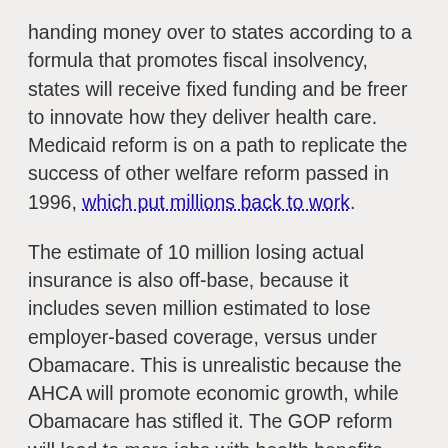handing money over to states according to a formula that promotes fiscal insolvency, states will receive fixed funding and be freer to innovate how they deliver health care. Medicaid reform is on a path to replicate the success of other welfare reform passed in 1996, which put millions back to work.
The estimate of 10 million losing actual insurance is also off-base, because it includes seven million estimated to lose employer-based coverage, versus under Obamacare. This is unrealistic because the AHCA will promote economic growth, while Obamacare has stifled it. The GOP reform will lead to more jobs with health benefits.
One way Obamacare stifles growth is the structure of its tax credits, which impose high marginal income tax rates at certain income levels up to 400 percent of the Federal Poverty Level. The CBO itself estimates this will cost two